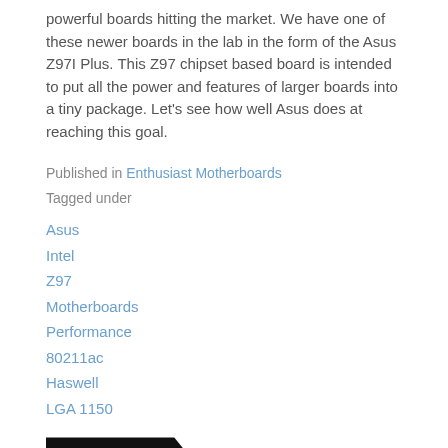powerful boards hitting the market. We have one of these newer boards in the lab in the form of the Asus Z97I Plus. This Z97 chipset based board is intended to put all the power and features of larger boards into a tiny package. Let's see how well Asus does at reaching this goal.
Published in Enthusiast Motherboards
Tagged under
Asus
Intel
Z97
Motherboards
Performance
80211ac
Haswell
LGA 1150
READ MORE...
Monday, 16 December 2013 15:05
Is the leaked